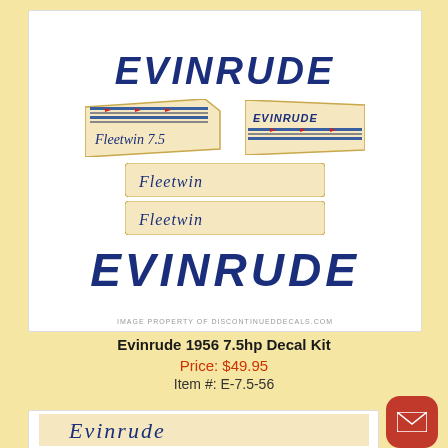[Figure (photo): Evinrude 1956 7.5hp decal kit product image showing multiple decals: large EVINRUDE text, Fleetwin 7.5 badge, Evinrude badge, two Fleetwin script decals, and large EVINRUDE bottom text]
Evinrude 1956 7.5hp Decal Kit
Price: $49.95
Item #: E-7.5-56
[Figure (photo): Partial view of a second Evinrude product with script Evinrude decal on cream background]
[Figure (other): Red mail/contact button in bottom right corner]